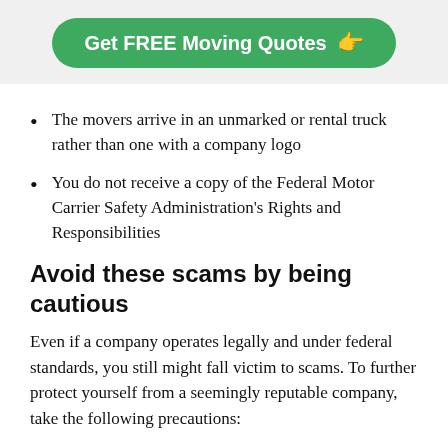[Figure (other): Green rounded button with white text reading 'Get FREE Moving Quotes' and a pointing hand icon]
The movers arrive in an unmarked or rental truck rather than one with a company logo
You do not receive a copy of the Federal Motor Carrier Safety Administration's Rights and Responsibilities
Avoid these scams by being cautious
Even if a company operates legally and under federal standards, you still might fall victim to scams. To further protect yourself from a seemingly reputable company, take the following precautions:
Go through the rates and estimates carefully.
Make sure to also check on social media lists...